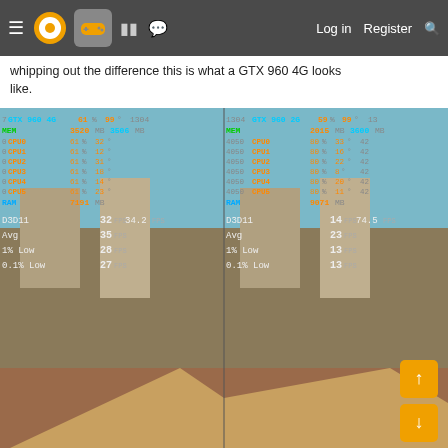≡ [logo] [gamepad] [grid] [chat] Log in  Register [search]
whipping out the difference this is what a GTX 960 4G looks like.
[Figure (screenshot): Side-by-side GPU benchmark comparison screenshot showing two game scenes with MSI Afterburner/RivaTuner overlay. Left side: GTX 960 4G, GPU 61%, MEM 3520/3506, CPU threads at 61%, RAM 7191 MB, D3D11 32 FPS avg 34.2, Avg 35 FPS, 1% Low 28 FPS, 0.1% Low 27 FPS. Right side: GTX 960 2G, GPU 59%, MEM 2015/3600, CPU threads at 80%, RAM 9071 MB, D3D11 14 FPS avg 74.5, Avg 23 FPS, 1% Low 13 FPS, 0.1% Low 13 FPS. Game scene shows a historical/ancient town environment.]